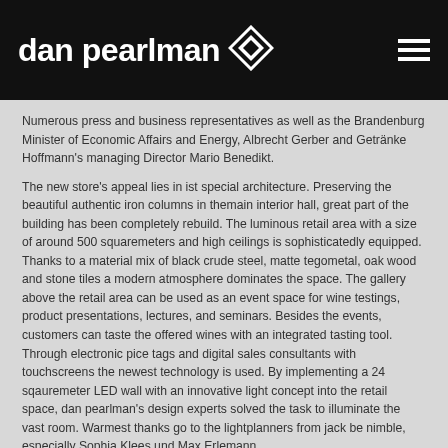dan pearlman
Numerous press and business representatives as well as the Brandenburg Minister of Economic Affairs and Energy, Albrecht Gerber and Getränke Hoffmann's managing Director Mario Benedikt.
The new store's appeal lies in ist special architecture. Preserving the beautiful authentic iron columns in themain interior hall, great part of the building has been completely rebuild. The luminous retail area with a size of around 500 squaremeters and high ceilings is sophisticatedly equipped. Thanks to a material mix of black crude steel, matte tegometal, oak wood and stone tiles a modern atmosphere dominates the space. The gallery above the retail area can be used as an event space for wine testings, product presentations, lectures, and seminars. Besides the events, customers can taste the offered wines with an integrated tasting tool. Through electronic pice tags and digital sales consultants with touchscreens the newest technology is used. By implementing a 24 sqauremeter LED wall with an innovative light concept into the retail space, dan pearlman's design experts solved the task to illuminate the vast room. Warmest thanks go to the lightplanners from jack be nimble, especially Sophia Klees und Max Erlemann.
Find information out about Mein Hoffi, the awarded store concept dan pearlman designed for Getränke Hoffmann in link: Berlin...